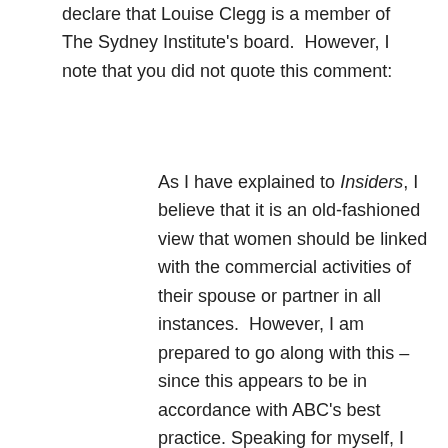declare that Louise Clegg is a member of The Sydney Institute's board.  However, I note that you did not quote this comment:
As I have explained to Insiders, I believe that it is an old-fashioned view that women should be linked with the commercial activities of their spouse or partner in all instances.   However, I am prepared to go along with this – since this appears to be in accordance with ABC's best practice. Speaking for myself, I have never mentioned – for example – that The Guardian Australia's editor Lenore Taylor is married to a journalist or referred to her views in relation to his.